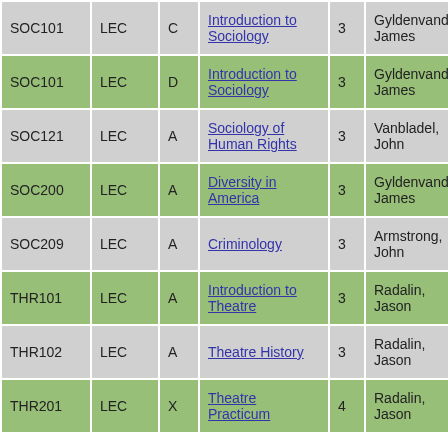| Course | Type | Section | Title | Credits | Instructor |
| --- | --- | --- | --- | --- | --- |
| SOC101 | LEC | C | Introduction to Sociology | 3 | Gyldenvand, James |
| SOC101 | LEC | D | Introduction to Sociology | 3 | Gyldenvand, James |
| SOC121 | LEC | A | Sociology of Human Rights | 3 | Vanbladel, John |
| SOC200 | LEC | A | Diversity in America | 3 | Gyldenvand, James |
| SOC209 | LEC | A | Criminology | 3 | Armstrong, John |
| THR101 | LEC | A | Introduction to Theatre | 3 | Radalin, Jason |
| THR102 | LEC | A | Theatre History | 3 | Radalin, Jason |
| THR201 | LEC | X | Theatre Practicum | 4 | Radalin, Jason |